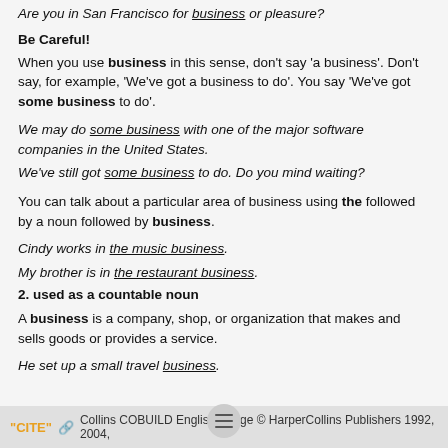Are you in San Francisco for business or pleasure?
Be Careful!
When you use business in this sense, don't say 'a business'. Don't say, for example, 'We've got a business to do'. You say 'We've got some business to do'.
We may do some business with one of the major software companies in the United States.
We've still got some business to do. Do you mind waiting?
You can talk about a particular area of business using the followed by a noun followed by business.
Cindy works in the music business.
My brother is in the restaurant business.
2. used as a countable noun
A business is a company, shop, or organization that makes and sells goods or provides a service.
He set up a small travel business.
"CITE" [link] Collins COBUILD English Usage © HarperCollins Publishers 1992, 2004,